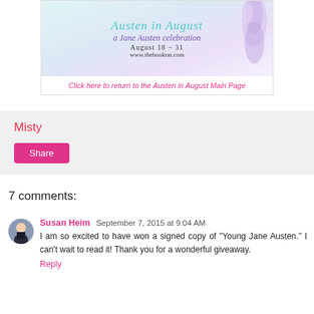[Figure (illustration): Banner for 'Austen in August' celebration event — a Jane Austen celebration, August 18-31, www.thebookrat.com, with decorative script text and illustrated figure]
Click here to return to the Austen in August Main Page
Misty
Share
7 comments:
Susan Heim  September 7, 2015 at 9:04 AM
I am so excited to have won a signed copy of "Young Jane Austen." I can't wait to read it! Thank you for a wonderful giveaway.
Reply